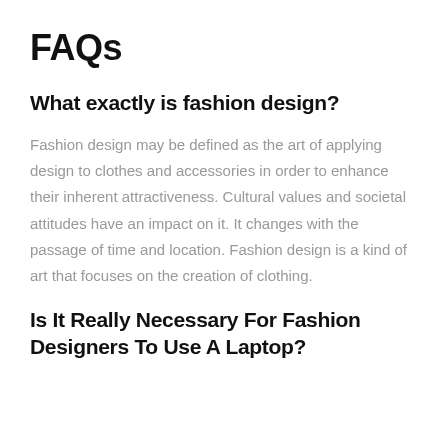FAQs
What exactly is fashion design?
Fashion design may be defined as the art of applying design to clothes and accessories in order to enhance their inherent attractiveness. Cultural values and societal attitudes have an impact on it. It changes with the passage of time and location. Fashion design is a kind of art that focuses on the creation of clothing.
Is It Really Necessary For Fashion Designers To Use A Laptop?